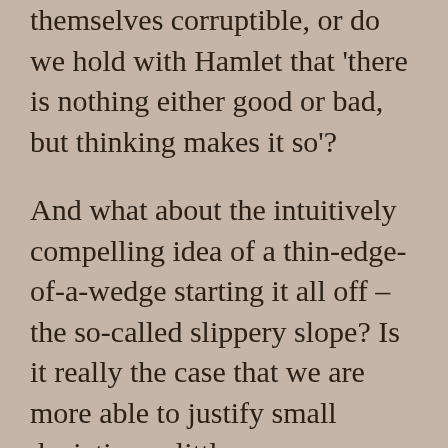themselves corruptible, or do we hold with Hamlet that 'there is nothing either good or bad, but thinking makes it so'?
And what about the intuitively compelling idea of a thin-edge-of-a-wedge starting it all off –the so-called slippery slope? Is it really the case that we are more able to justify small deviations –little